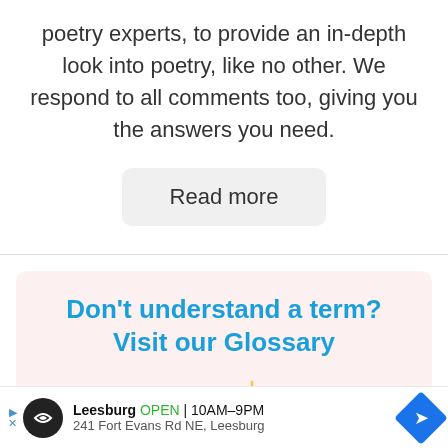poetry experts, to provide an in-depth look into poetry, like no other. We respond to all comments too, giving you the answers you need.
Read more
Don't understand a term? Visit our Glossary
[Figure (illustration): Illustration showing letters B and C with a lightbulb and decorative squiggles, suggesting a glossary or learning concept]
Leesburg OPEN | 10AM–9PM 241 Fort Evans Rd NE, Leesburg